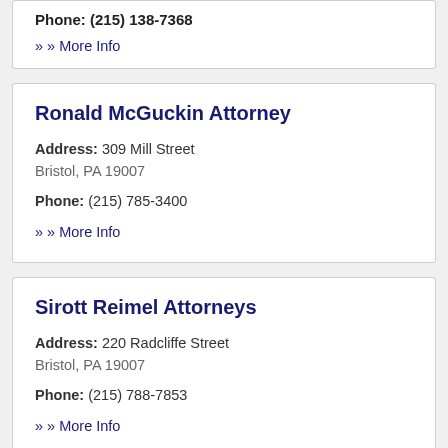Phone: (215) 138-7368
» More Info
Ronald McGuckin Attorney
Address: 309 Mill Street
Bristol, PA 19007
Phone: (215) 785-3400
» More Info
Sirott Reimel Attorneys
Address: 220 Radcliffe Street
Bristol, PA 19007
Phone: (215) 788-7853
» More Info